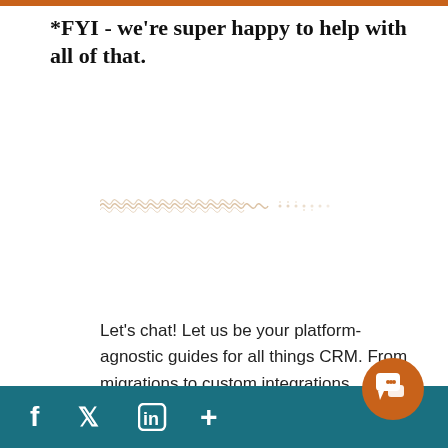*FYI - we're super happy to help with all of that.
[Figure (illustration): Decorative wavy/swirl line art in light orange/tan color, abstract decorative element]
Let's chat! Let us be your platform-agnostic guides for all things CRM. From migrations to custom integrations, chatbot or conversational marketing assistance, or vendor evaluating -- we're ready to help!
Social media icons: Facebook, Twitter, LinkedIn, Plus sign. Chat bubble icon (orange).